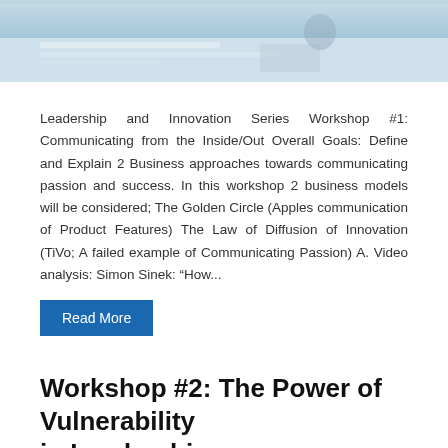[Figure (photo): Top portion of a photo showing a meeting/workshop scene with papers on a table, partially cropped]
Leadership and Innovation Series Workshop #1: Communicating from the Inside/Out Overall Goals: Define and Explain 2 Business approaches towards communicating passion and success. In this workshop 2 business models will be considered; The Golden Circle (Apples communication of Product Features) The Law of Diffusion of Innovation (TiVo; A failed example of Communicating Passion) A. Video analysis: Simon Sinek: “How...
Read More
Workshop #2: The Power of Vulnerability in Leadership
July 14, 2018 | No Comments | Sales Skills, Sales Training Workshops